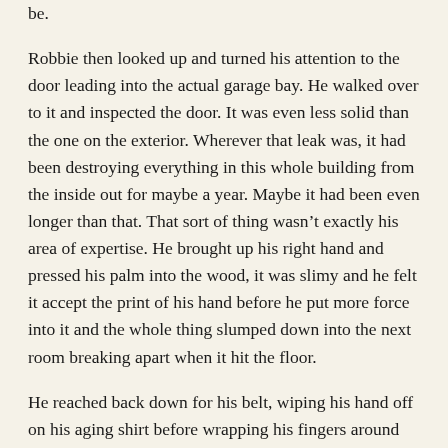be.
Robbie then looked up and turned his attention to the door leading into the actual garage bay. He walked over to it and inspected the door. It was even less solid than the one on the exterior. Wherever that leak was, it had been destroying everything in this whole building from the inside out for maybe a year. Maybe it had been even longer than that. That sort of thing wasn’t exactly his area of expertise. He brought up his right hand and pressed his palm into the wood, it was slimy and he felt it accept the print of his hand before he put more force into it and the whole thing slumped down into the next room breaking apart when it hit the floor.
He reached back down for his belt, wiping his hand off on his aging shirt before wrapping his fingers around his flashlight and turning it on before raising it up and looking into the next room. It was full of junk and at least one car. Rob already knew what he wanted to look for first, his light moved slowly over the collapsed desks and rusted sheet metal toolboxes and the car blocking the view over the rest of the garage and then fell on the faint light near the floor where the first sliding door was clamped shut and locked.
The only sound that graced his ears were the tapping of his worn